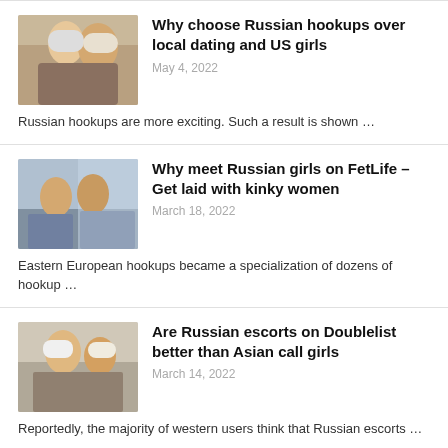Why choose Russian hookups over local dating and US girls
May 4, 2022
Russian hookups are more exciting. Such a result is shown …
Why meet Russian girls on FetLife – Get laid with kinky women
March 18, 2022
Eastern European hookups became a specialization of dozens of hookup …
Are Russian escorts on Doublelist better than Asian call girls
March 14, 2022
Reportedly, the majority of western users think that Russian escorts …
How to have Russian hookups on OnlyFans: Top Moscow escorts
March 10, 2022